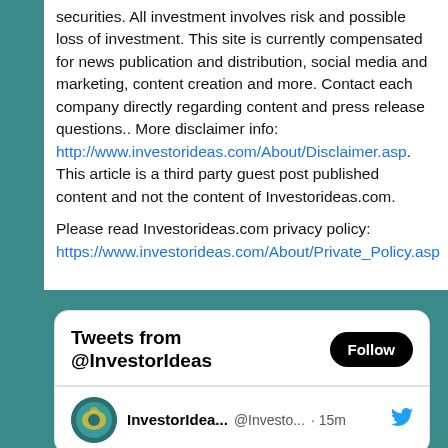securities. All investment involves risk and possible loss of investment. This site is currently compensated for news publication and distribution, social media and marketing, content creation and more. Contact each company directly regarding content and press release questions.. More disclaimer info: http://www.investorideas.com/About/Disclaimer.asp. This article is a third party guest post published content and not the content of Investorideas.com.

Please read Investorideas.com privacy policy: https://www.investorideas.com/About/Private_Policy.asp
[Figure (screenshot): Tweets from @InvestorIdeas widget with Follow button and InvestorIdea... @Investo... 15m tweet preview]